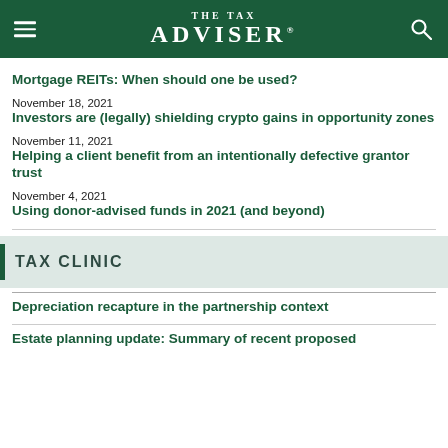THE TAX ADVISER
Mortgage REITs: When should one be used?
November 18, 2021
Investors are (legally) shielding crypto gains in opportunity zones
November 11, 2021
Helping a client benefit from an intentionally defective grantor trust
November 4, 2021
Using donor-advised funds in 2021 (and beyond)
TAX CLINIC
Depreciation recapture in the partnership context
Estate planning update: Summary of recent proposed